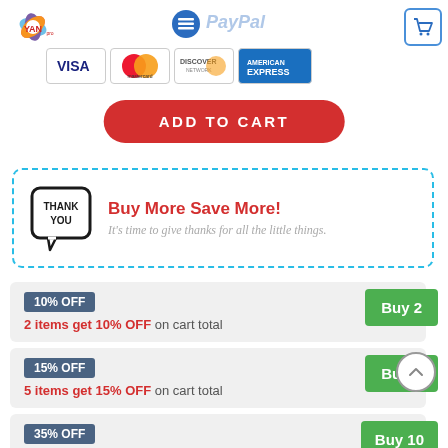[Figure (screenshot): E-commerce product page header with YAN logo, hamburger menu button, PayPal text, payment icons (VISA, Mastercard, Discover, American Express), Add to Cart button, Buy More Save More promotional box, and discount tiers (10% OFF buy 2, 15% OFF buy 5, 35% OFF buy 10)]